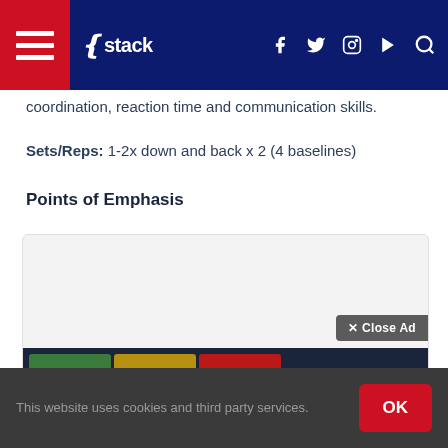stack (navigation bar with hamburger menu, logo, social icons, search)
coordination, reaction time and communication skills.
Sets/Reps: 1-2x down and back x 2 (4 baselines)
Points of Emphasis
[Figure (screenshot): Advertisement box with light gray background, containing a dark navy bar at the bottom showing sports images and a close ad button overlay]
This website uses cookies and third party services.